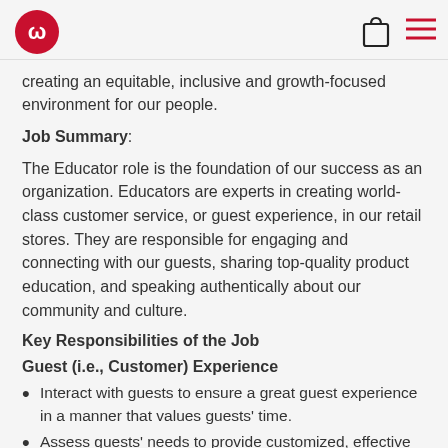lululemon logo, shopping bag icon, hamburger menu icon
creating an equitable, inclusive and growth-focused environment for our people.
Job Summary:
The Educator role is the foundation of our success as an organization. Educators are experts in creating world-class customer service, or guest experience, in our retail stores. They are responsible for engaging and connecting with our guests, sharing top-quality product education, and speaking authentically about our community and culture.
Key Responsibilities of the Job
Guest (i.e., Customer) Experience
Interact with guests to ensure a great guest experience in a manner that values guests' time.
Assess guests' needs to provide customized, effective purchase and return solutions and support.